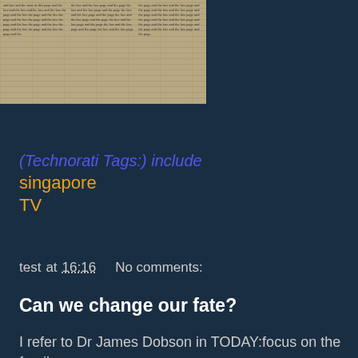[Figure (photo): Scanned newspaper clipping showing multiple columns of text]
(Technorati Tags:) include
singapore
TV
test at 16:16   No comments:
Share
Can we change our fate?
I refer to Dr James Dobson in TODAY:focus on the family